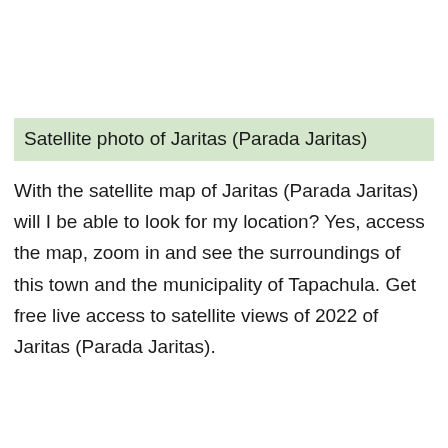Satellite photo of Jaritas (Parada Jaritas)
With the satellite map of Jaritas (Parada Jaritas) will I be able to look for my location? Yes, access the map, zoom in and see the surroundings of this town and the municipality of Tapachula. Get free live access to satellite views of 2022 of Jaritas (Parada Jaritas).